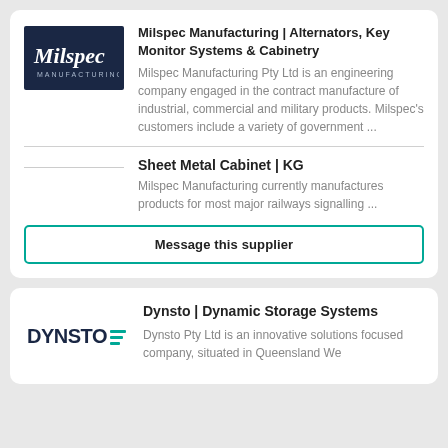[Figure (logo): Milspec Manufacturing logo — dark navy blue rectangle with italic white 'Milspec' text and 'MANUFACTURING' below]
Milspec Manufacturing | Alternators, Key Monitor Systems & Cabinetry
Milspec Manufacturing Pty Ltd is an engineering company engaged in the contract manufacture of industrial, commercial and military products. Milspec's customers include a variety of government ...
Sheet Metal Cabinet | KG
Milspec Manufacturing currently manufactures products for most major railways signalling ...
Message this supplier
[Figure (logo): Dynsto logo — bold dark navy 'DYNSTO' text with teal horizontal lines on the right]
Dynsto | Dynamic Storage Systems
Dynsto Pty Ltd is an innovative solutions focused company, situated in Queensland We